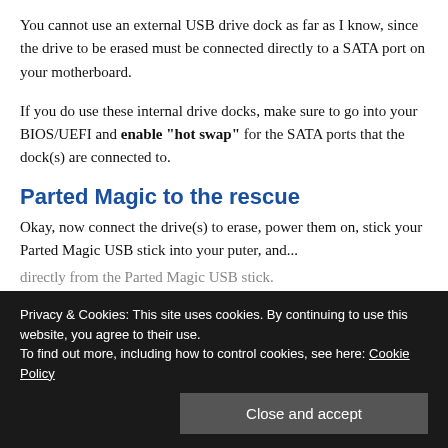You cannot use an external USB drive dock as far as I know, since the drive to be erased must be connected directly to a SATA port on your motherboard.
If you do use these internal drive docks, make sure to go into your BIOS/UEFI and enable "hot swap" for the SATA ports that the dock(s) are connected to.
Parted Magic to the rescue
Okay, now connect the drive(s) to erase, power them on, stick your Parted Magic USB stick into your puter, and...
directly from the Parted Magic USB stick.
Privacy & Cookies: This site uses cookies. By continuing to use this website, you agree to their use.
To find out more, including how to control cookies, see here: Cookie Policy
Close and accept